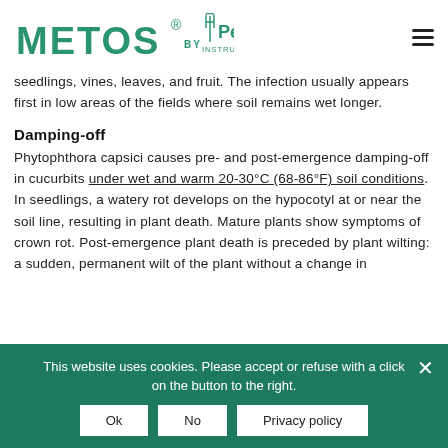METOS® BY Pessl INSTRUMENTS
seedlings, vines, leaves, and fruit. The infection usually appears first in low areas of the fields where soil remains wet longer.
Damping-off
Phytophthora capsici causes pre- and post-emergence damping-off in cucurbits under wet and warm 20-30°C (68-86°F) soil conditions. In seedlings, a watery rot develops on the hypocotyl at or near the soil line, resulting in plant death. Mature plants show symptoms of crown rot. Post-emergence plant death is preceded by plant wilting: a sudden, permanent wilt of the plant without a change in
This website uses cookies. Please accept or refuse with a click on the button to the right.
Ok
No
Privacy policy